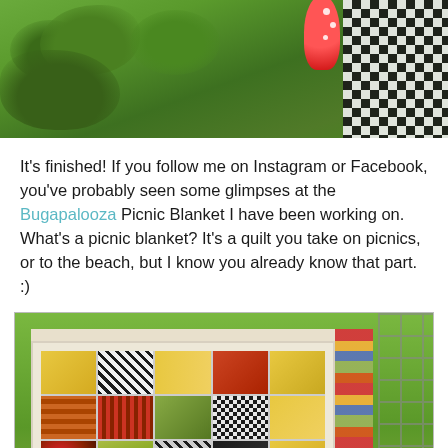[Figure (photo): Top portion of a garden/outdoor scene with green foliage, a black and white checkered fabric or quilt, and a red polka-dot element visible.]
It's finished! If you follow me on Instagram or Facebook, you've probably seen some glimpses at the Bugapalooza Picnic Blanket I have been working on. What's a picnic blanket? It's a quilt you take on picnics, or to the beach, but I know you already know that part. :)
[Figure (photo): A colorful patchwork quilt/picnic blanket laid out outdoors, featuring multiple fabric patterns including checks, florals, and geometric designs in yellow, green, orange, red, and black. The quilt has a wide cream/white border. A golden scroll-to-top button is visible in the lower right corner.]